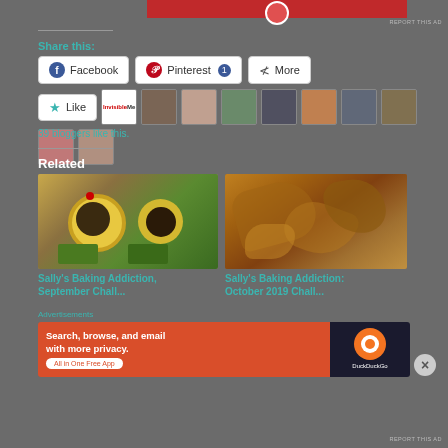[Figure (screenshot): Red advertisement bar at top with white circle icon]
REPORT THIS AD
Share this:
[Figure (screenshot): Share buttons: Facebook, Pinterest 1, More]
[Figure (screenshot): Like button with star icon and row of blogger avatars]
39 bloggers like this.
Related
[Figure (photo): Sunflower cupcakes with green frosting and red candy decorations on a wooden board]
Sally's Baking Addiction, September Chall...
[Figure (photo): Close-up photo of kelp or seaweed in brown/golden tones]
Sally's Baking Addiction: October 2019 Chall...
Advertisements
[Figure (screenshot): DuckDuckGo advertisement banner: Search, browse, and email with more privacy. All in One Free App]